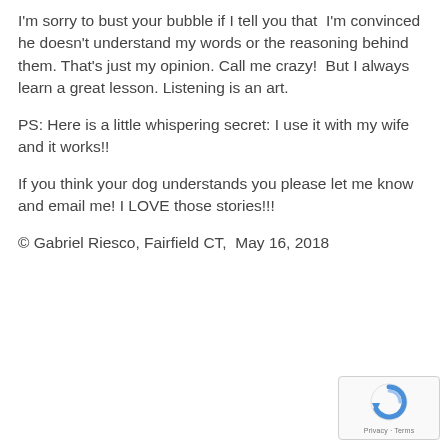I'm sorry to bust your bubble if I tell you that I'm convinced he doesn't understand my words or the reasoning behind them. That's just my opinion. Call me crazy! But I always learn a great lesson. Listening is an art.
PS: Here is a little whispering secret: I use it with my wife and it works!!
If you think your dog understands you please let me know and email me! I LOVE those stories!!!
© Gabriel Riesco, Fairfield CT, May 16, 2018
[Figure (logo): reCAPTCHA logo with Privacy and Terms text]